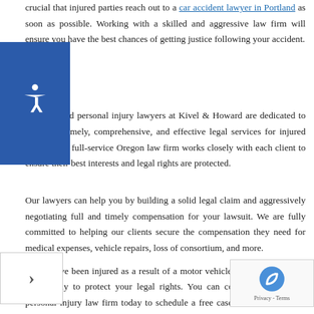crucial that injured parties reach out to a car accident lawyer in Portland as soon as possible. Working with a skilled and aggressive law firm will ensure you have the best chances of getting justice following your accident.
The Portland personal injury lawyers at Kivel & Howard are dedicated to providing timely, comprehensive, and effective legal services for injured clients. Our full-service Oregon law firm works closely with each client to ensure their best interests and legal rights are protected.
Our lawyers can help you by building a solid legal claim and aggressively negotiating full and timely compensation for your lawsuit. We are fully committed to helping our clients secure the compensation they need for medical expenses, vehicle repairs, loss of consortium, and more.
If you have been injured as a result of a motor vehicle accident, you must act quickly to protect your legal rights. You can contact our personal injury law firm today to schedule a free case evaluation team at your earliest convenience. Our lawyers are available (503) 796-0909 and (503) 802-4800.